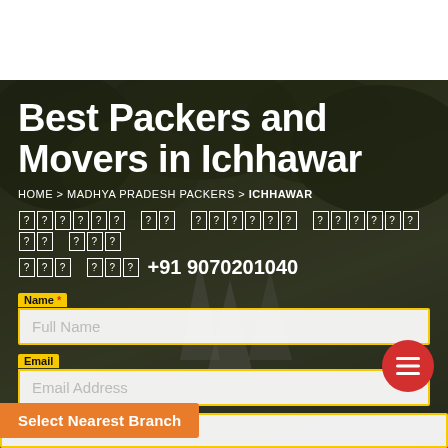Best Packers and Movers in Ichhawar
HOME > MADHYA PRADESH PACKERS > ICHHAWAR
? ? ? ? ? ? ? ? ? ? ? ? ? ? ? ? ? ? ? ? ? ? ? ? ? ? ? ? ? ? ?  +91 9070201040
Name * — Full Name (input field)
Email — Email Address (input field)
Select Nearest Branch
Phone Number (input field, partially visible)